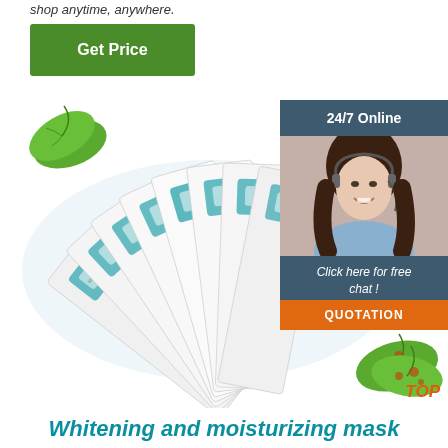shop anytime, anywhere.
Get Price
[Figure (illustration): Two green leaves overlapping, top left decoration]
[Figure (photo): Fan arrangement of multiple whitening and moisturizing face mask packets with teal square logos and Chinese characters, on light blue oval background]
[Figure (photo): Customer service agent: smiling woman with headset, with 24/7 Online header, 'Click here for free chat!' text, and orange QUOTATION button]
[Figure (illustration): Two green leaves with orange spots, bottom right decoration, with TOP label in orange italic]
Whitening and moisturizing mask